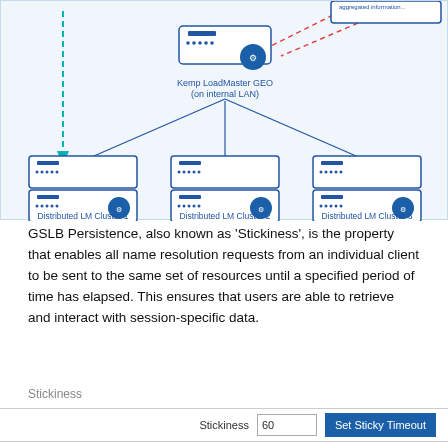[Figure (network-graph): Network diagram showing Kemp LoadMaster GEO on internal LAN at top center, connected by lines to three Distributed LM Clusters (1, 2, 3) below. A dashed teal arrow points down on the left side. Red dashed lines connect to a box at top right labeled 'aggregated information...'.]
GSLB Persistence, also known as 'Stickiness', is the property that enables all name resolution requests from an individual client to be sent to the same set of resources until a specified period of time has elapsed. This ensures that users are able to retrieve and interact with session-specific data.
Stickiness
| Stickiness |  |
| --- | --- |
| Stickiness | 60  [Set Sticky Timeout] |